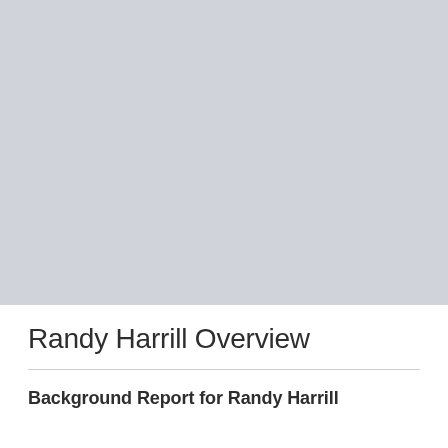[Figure (photo): Large gray placeholder image occupying the top portion of the page]
Randy Harrill Overview
Background Report for Randy Harrill